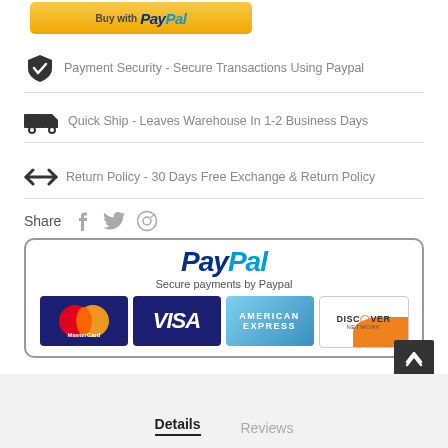[Figure (screenshot): PayPal Buy Now button (yellow/orange gradient button with PayPal logo text)]
Payment Security - Secure Transactions Using Paypal
Quick Ship - Leaves Warehouse In 1-2 Business Days
Return Policy - 30 Days Free Exchange & Return Policy
Share
[Figure (logo): PayPal payment box with MasterCard, VISA, American Express, and Discover card logos. Text: Secure payments by Paypal]
Details   Reviews